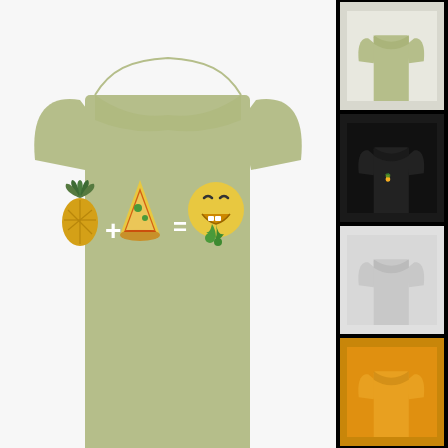[Figure (photo): Main product photo: light olive/sage green t-shirt with pineapple + pizza slice = nauseated emoji graphic on the chest, displayed on white background]
[Figure (photo): Thumbnail: light sage green t-shirt variant]
[Figure (photo): Thumbnail: black t-shirt variant with small emoji graphic on chest]
[Figure (photo): Thumbnail: white/light grey t-shirt variant with small emoji graphic on chest]
[Figure (photo): Thumbnail: gold/yellow t-shirt variant with small emoji graphic on chest]
[Figure (photo): Thumbnail: dark teal/forest green t-shirt variant with small emoji graphic on chest]
[Figure (photo): Thumbnail: light blue t-shirt variant (partially visible)]